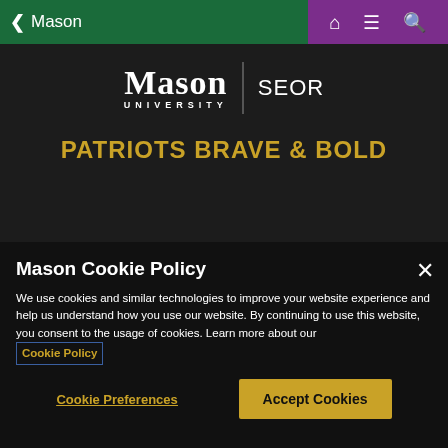Mason (back arrow navigation)
[Figure (logo): Mason University logo with SEOR text on dark background]
PATRIOTS BRAVE & BOLD
Mason Cookie Policy
We use cookies and similar technologies to improve your website experience and help us understand how you use our website. By continuing to use this website, you consent to the usage of cookies. Learn more about our Cookie Policy
Cookie Preferences
Accept Cookies